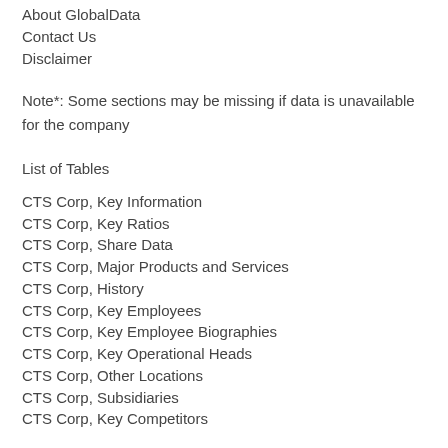About GlobalData
Contact Us
Disclaimer
Note*: Some sections may be missing if data is unavailable for the company
List of Tables
CTS Corp, Key Information
CTS Corp, Key Ratios
CTS Corp, Share Data
CTS Corp, Major Products and Services
CTS Corp, History
CTS Corp, Key Employees
CTS Corp, Key Employee Biographies
CTS Corp, Key Operational Heads
CTS Corp, Other Locations
CTS Corp, Subsidiaries
CTS Corp, Key Competitors